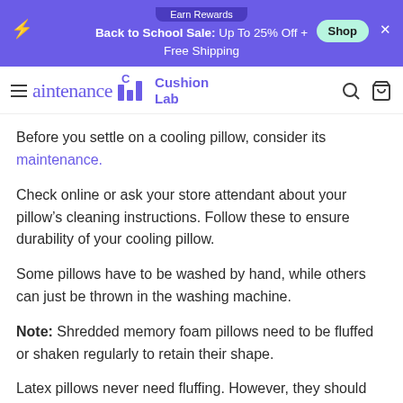Earn Rewards | Back to School Sale: Up To 25% Off + Free Shipping | Shop
Maintenance | Cushion Lab
Before you settle on a cooling pillow, consider its maintenance.
Check online or ask your store attendant about your pillow’s cleaning instructions. Follow these to ensure durability of your cooling pillow.
Some pillows have to be washed by hand, while others can just be thrown in the washing machine.
Note: Shredded memory foam pillows need to be fluffed or shaken regularly to retain their shape.
Latex pillows never need fluffing. However, they should not